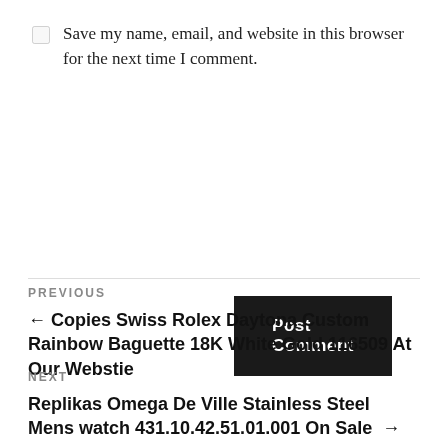Save my name, email, and website in this browser for the next time I comment.
Post Comment
PREVIOUS
← Copies Swiss Rolex Daytona Custom Rainbow Baguette 18K White Gold 116509 At Our Webstie
NEXT
Replikas Omega De Ville Stainless Steel Mens watch 431.10.42.51.01.001 On Sale →